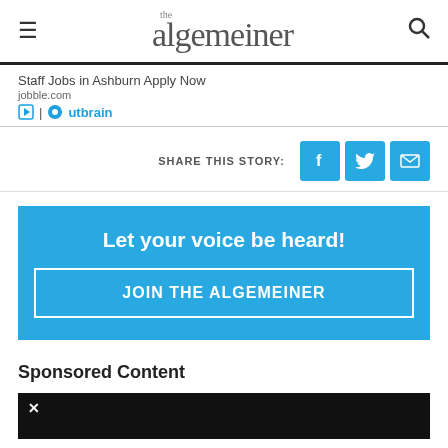the algemeiner
Staff Jobs in Ashburn Apply Now
jobble.com
| Outbrain
SHARE THIS STORY:
Let your voice be heard!
JOIN THE ALGEMEINER
Sponsored Content